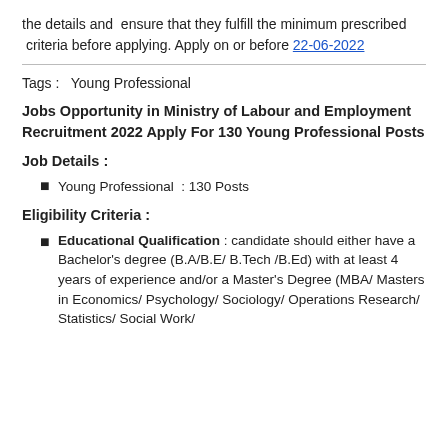the details and ensure that they fulfill the minimum prescribed criteria before applying. Apply on or before 22-06-2022
Tags : Young Professional
Jobs Opportunity in Ministry of Labour and Employment Recruitment 2022 Apply For 130 Young Professional Posts
Job Details :
Young Professional : 130 Posts
Eligibility Criteria :
Educational Qualification : candidate should either have a Bachelor's degree (B.A/B.E/ B.Tech /B.Ed) with at least 4 years of experience and/or a Master's Degree (MBA/ Masters in Economics/ Psychology/ Sociology/ Operations Research/ Statistics/ Social Work/